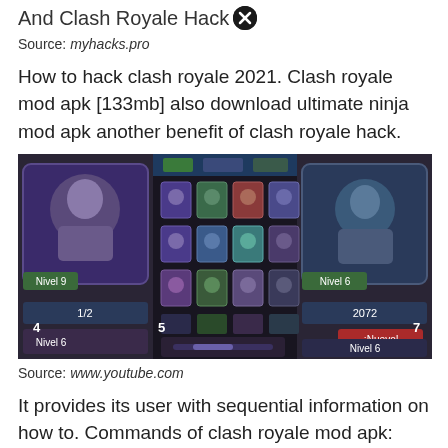And Clash Royale Hack
Source: myhacks.pro
How to hack clash royale 2021. Clash royale mod apk [133mb] also download ultimate ninja mod apk another benefit of clash royale hack.
[Figure (screenshot): Screenshot of Clash Royale game showing card collection interface with multiple character cards at various levels (Nivel 6, Nivel 9, etc.)]
Source: www.youtube.com
It provides its user with sequential information on how to. Commands of clash royale mod apk:
[Figure (screenshot): Bottom banner showing Clash Royale logo/branding with close button overlay]